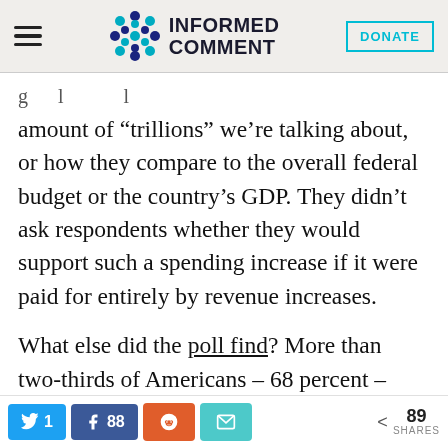INFORMED COMMENT
amount of “trillions” we’re talking about, or how they compare to the overall federal budget or the country’s GDP. They didn’t ask respondents whether they would support such a spending increase if it were paid for entirely by revenue increases.
What else did the poll find? More than two-thirds of Americans – 68 percent – support raising taxes on the wealthy to pay for climate action. Sixty percent support raising
1  88  [reddit]  [email]  < 89 SHARES